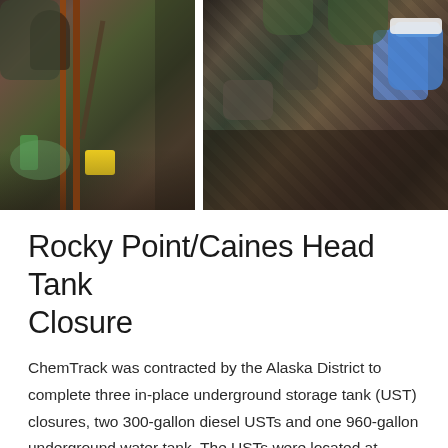[Figure (photo): Two-panel photo banner showing workers conducting underground storage tank closure work at a rocky, vegetated site. Left panel shows workers digging near a wooden post with equipment including a yellow container and green bottle visible. Right panel shows rocky/soil excavation area with blue gloves visible on the right edge.]
Rocky Point/Caines Head Tank Closure
ChemTrack was contracted by the Alaska District to complete three in-place underground storage tank (UST) closures, two 300-gallon diesel USTs and one 960-gallon underground water tank.  The USTs were located at Rocky Point in Resurrection Bay at Caines Head State Park in Seward, Alaska.